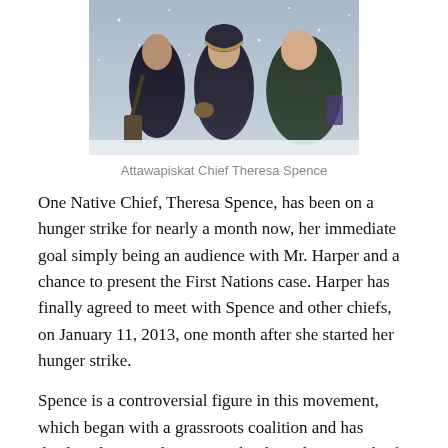[Figure (photo): Three people standing outdoors in snowy weather, wearing winter coats.]
Attawapiskat Chief Theresa Spence
One Native Chief, Theresa Spence, has been on a hunger strike for nearly a month now, her immediate goal simply being an audience with Mr. Harper and a chance to present the First Nations case.  Harper has finally agreed to meet with Spence and other chiefs, on January 11, 2013, one month after she started her hunger strike.
Spence is a controversial figure in this movement, which began with a grassroots coalition and has displayed some reluctance to let the indigenous chiefs steal the thunder.
There have been rumors of corruption among the chiefs